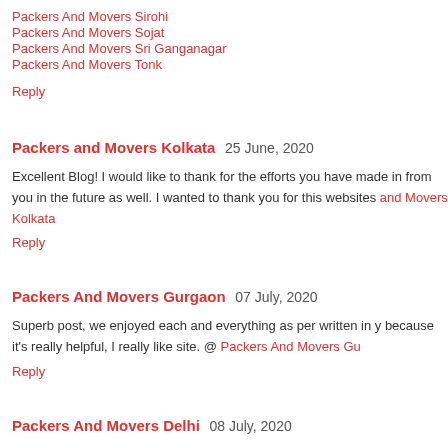Packers And Movers Sirohi
Packers And Movers Sojat
Packers And Movers Sri Ganganagar
Packers And Movers Tonk
Reply
Packers and Movers Kolkata  25 June, 2020
Excellent Blog! I would like to thank for the efforts you have made in from you in the future as well. I wanted to thank you for this websites and Movers Kolkata
Reply
Packers And Movers Gurgaon  07 July, 2020
Superb post, we enjoyed each and everything as per written in y because it's really helpful, I really like site. @ Packers And Movers Gu
Reply
Packers And Movers Delhi  08 July, 2020
Enjoyed every bit of your blog article.Really looking forward to read m Packers And Movers Delhi